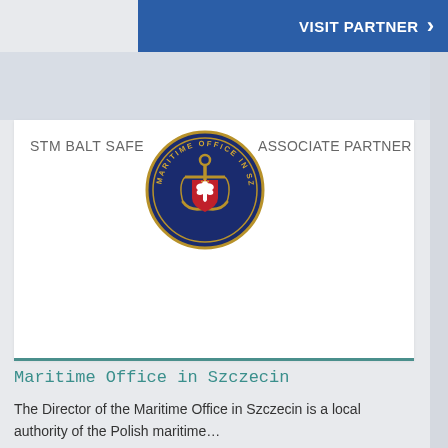VISIT PARTNER >
[Figure (logo): Maritime Office in Szczecin circular emblem — dark blue circle with gold anchor and eagle on red shield in center, text 'MARITIME OFFICE IN SZCZECIN' around border]
STM BALT SAFE
ASSOCIATE PARTNER
Maritime Office in Szczecin
The Director of the Maritime Office in Szczecin is a local authority of the Polish maritime...
Read more